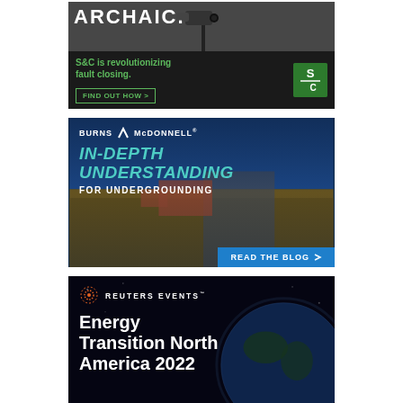[Figure (advertisement): S&C Electric advertisement: 'ARCHAIC.' with security camera image, text 'S&C is revolutionizing fault closing.' and 'FIND OUT HOW >' button, S&C green logo]
[Figure (advertisement): Burns & McDonnell advertisement: 'IN-DEPTH UNDERSTANDING FOR UNDERGROUNDING' with construction/excavation background image and 'READ THE BLOG >' button]
[Figure (advertisement): Reuters Events advertisement: 'Energy Transition North America 2022' with Earth from space background and Reuters Events logo]